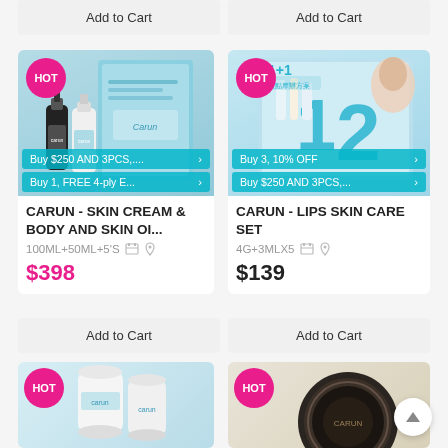[Figure (screenshot): Add to Cart buttons row at top of page]
[Figure (photo): CARUN Skin Cream & Body and Skin Oil product image with HOT badge, showing teal box and dropper bottles]
Buy $250 AND 3PCS,....
Buy 1, FREE 4-ply E....
CARUN - SKIN CREAM & BODY AND SKIN OI...
100ML+50ML+5'S
$398
[Figure (photo): CARUN Lips Skin Care Set product image with HOT badge, showing 1+1 package with numbered items 1 and 2]
Buy 3, 10% OFF
Buy $250 AND 3PCS,....
CARUN - LIPS SKIN CARE SET
4G+3MLX5
$139
Add to Cart
Add to Cart
[Figure (photo): Partial product card at bottom left with HOT badge, showing white Carun product containers]
[Figure (photo): Partial product card at bottom right with HOT badge, showing dark circular product lid]